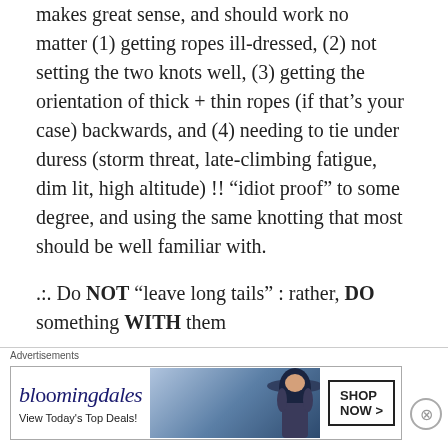makes great sense, and should work no matter (1) getting ropes ill-dressed, (2) not setting the two knots well, (3) getting the orientation of thick + thin ropes (if that's your case) backwards, and (4) needing to tie under duress (storm threat, late-climbing fatigue, dim lit, high altitude) !! “idiot proof” to some degree, and using the same knotting that most should be well familiar with.
.:. Do NOT “leave long tails” : rather, DO something WITH them
[Figure (screenshot): Bloomingdale's advertisement banner: logo, 'View Today's Top Deals!', image of woman with wide-brim hat, 'SHOP NOW >' button]